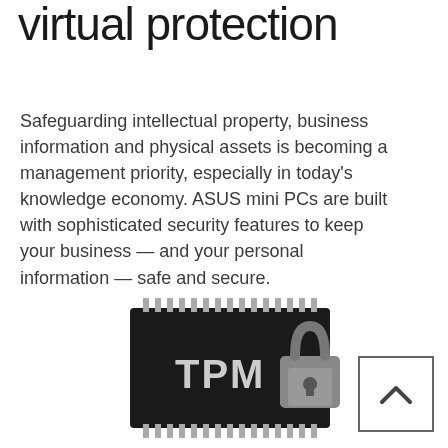virtual protection
Safeguarding intellectual property, business information and physical assets is becoming a management priority, especially in today's knowledge economy. ASUS mini PCs are built with sophisticated security features to keep your business — and your personal information — safe and secure.
[Figure (illustration): A TPM (Trusted Platform Module) chip/IC with a padlock on top of it, shown in black and gray tones, representing hardware security.]